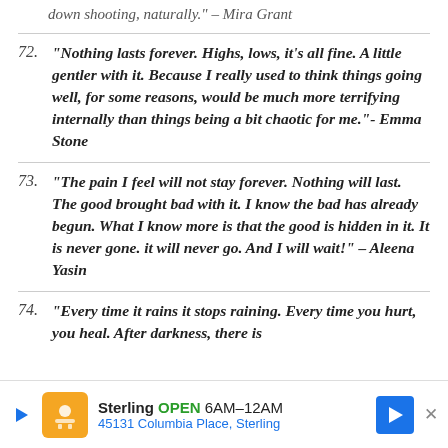down shooting, naturally." – Mira Grant
72. “Nothing lasts forever. Highs, lows, it’s all fine. A little gentler with it. Because I really used to think things going well, for some reasons, would be much more terrifying internally than things being a bit chaotic for me.”- Emma Stone
73. “The pain I feel will not stay forever. Nothing will last. The good brought bad with it. I know the bad has already begun. What I know more is that the good is hidden in it. It is never gone. it will never go. And I will wait!” – Aleena Yasin
74. “Every time it rains it stops raining. Every time you hurt, you heal. After darkness, there is
[Figure (other): Advertisement banner for Sterling store: OPEN 6AM-12AM, 45131 Columbia Place, Sterling]